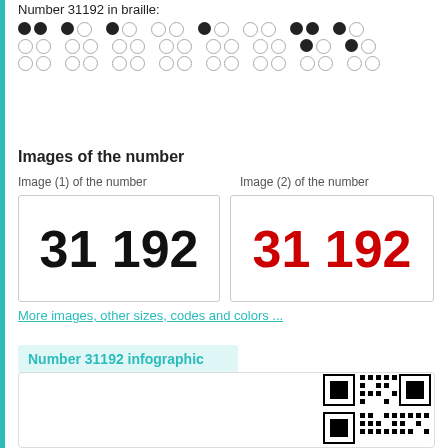Number 31192 in braille:
[Figure (illustration): Braille representation of number 31192 with filled and empty dots in a grid pattern]
Images of the number
Image (1) of the number
Image (2) of the number
[Figure (illustration): Number 31192 displayed in large black text on white background]
[Figure (illustration): Number 31192 displayed in large red text on white background]
More images, other sizes, codes and colors ...
Number 31192 infographic
[Figure (infographic): Infographic box for Número 31192 with description text and QR code]